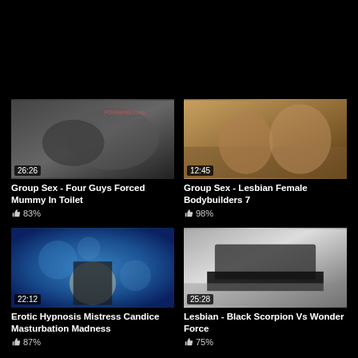[Figure (screenshot): Video thumbnail 1 - dark scene, duration 26:26]
Group Sex - Four Guys Forced Mummy In Toilet
83%
[Figure (screenshot): Video thumbnail 2 - two women on couch, duration 12:45]
Group Sex - Lesbian Female Bodybuilders 7
98%
[Figure (screenshot): Video thumbnail 3 - woman in corset on blue background, duration 22:12]
Erotic Hypnosis Mistress Candice Masturbation Madness
87%
[Figure (screenshot): Video thumbnail 4 - greyscale close-up, duration 25:28]
Lesbian - Black Scorpion Vs Wonder Force
75%